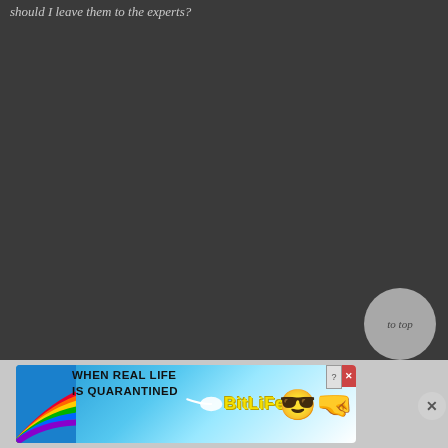should I leave them to the experts?
[Figure (screenshot): Dark background webpage section with a 'to top' circular button in bottom right and a BitLife advertisement banner at the bottom]
WHEN REAL LIFE IS QUARANTINED — BitLife ad banner